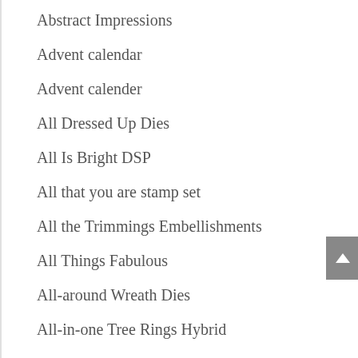Abstract Impressions
Advent calendar
Advent calender
All Dressed Up Dies
All Is Bright DSP
All that you are stamp set
All the Trimmings Embellishments
All Things Fabulous
All-around Wreath Dies
All-in-one Tree Rings Hybrid